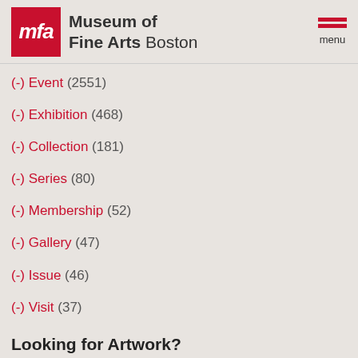Museum of Fine Arts Boston
(-) Event (2551)
(-) Exhibition (468)
(-) Collection (181)
(-) Series (80)
(-) Membership (52)
(-) Gallery (47)
(-) Issue (46)
(-) Visit (37)
Looking for Artwork?
Please use our Collections Search to complete or